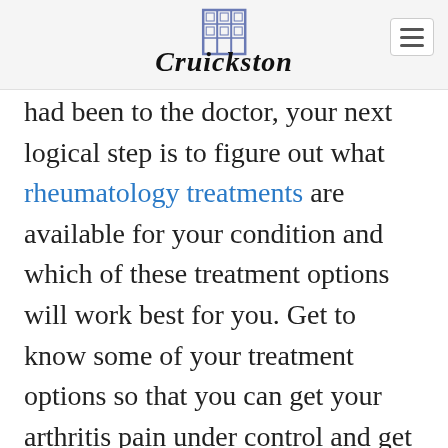Cruickston
had been to the doctor, your next logical step is to figure out what rheumatology treatments are available for your condition and which of these treatment options will work best for you. Get to know some of your treatment options so that you can get your arthritis pain under control and get back to feeling like your vibrant and active self once